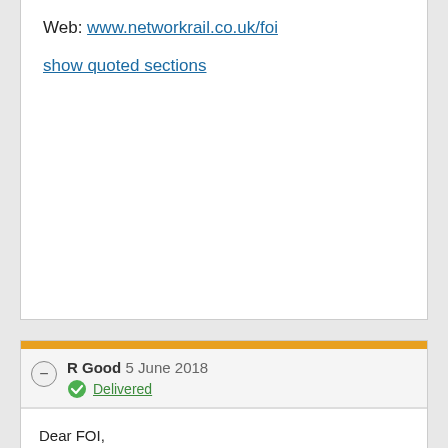Web: www.networkrail.co.uk/foi
show quoted sections
https://www.whatdotheyknow.c
Link to this
Report
R Good 5 June 2018
Delivered
Dear FOI,
Thank you for your response today. It is not necessary to provide all details of the 'delay attribution' for either the period or the specific incident I requested